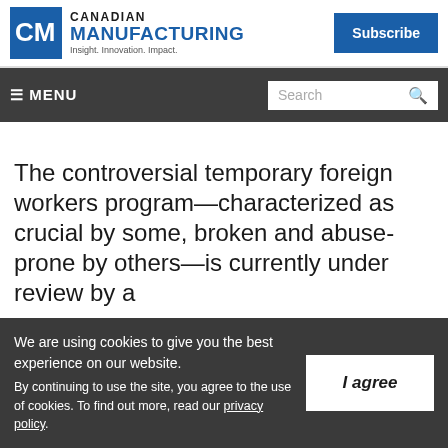Canadian Manufacturing — Insight. Innovation. Impact.
MENU | Search
The controversial temporary foreign workers program—characterized as crucial by some, broken and abuse-prone by others—is currently under review by a
We are using cookies to give you the best experience on our website. By continuing to use the site, you agree to the use of cookies. To find out more, read our privacy policy.